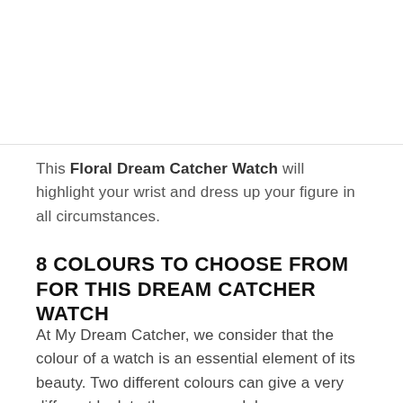This Floral Dream Catcher Watch will highlight your wrist and dress up your figure in all circumstances.
8 COLOURS TO CHOOSE FROM FOR THIS DREAM CATCHER WATCH
At My Dream Catcher, we consider that the colour of a watch is an essential element of its beauty. Two different colours can give a very different look to the same model.